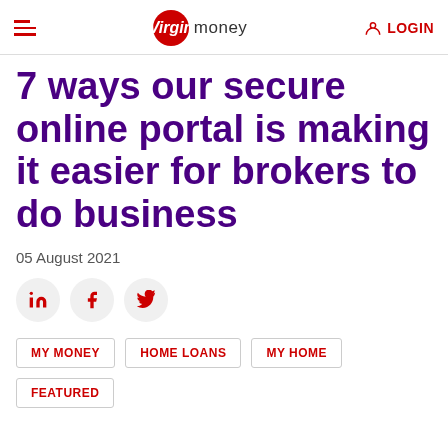Virgin money LOGIN
7 ways our secure online portal is making it easier for brokers to do business
05 August 2021
[Figure (other): Social sharing icons: LinkedIn, Facebook, Twitter]
MY MONEY   HOME LOANS   MY HOME
FEATURED